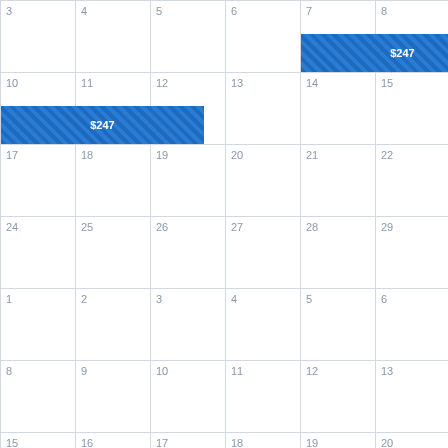[Figure (other): A monthly calendar grid showing days 3-21 across multiple weeks, with two highlighted blue $247 price/event spans: one spanning days 7-9, and another spanning days 10-11.]